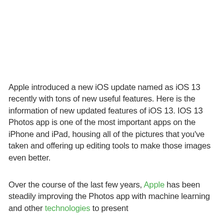Apple introduced a new iOS update named as iOS 13 recently with tons of new useful features. Here is the information of new updated features of iOS 13. IOS 13 Photos app is one of the most important apps on the iPhone and iPad, housing all of the pictures that you've taken and offering up editing tools to make those images even better.
Over the course of the last few years, Apple has been steadily improving the Photos app with machine learning and other technologies to present